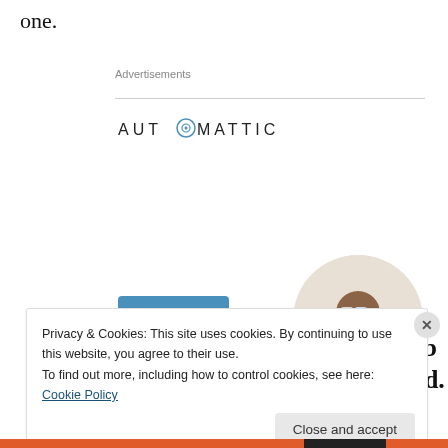one.
Advertisements
[Figure (logo): Automattic logo with stylized letter O containing a target/circle icon]
[Figure (infographic): Automattic job ad: 'Build a better web and a better world.' with an Apply button and a circular photo of a man thinking]
Privacy & Cookies: This site uses cookies. By continuing to use this website, you agree to their use.
To find out more, including how to control cookies, see here: Cookie Policy
Close and accept